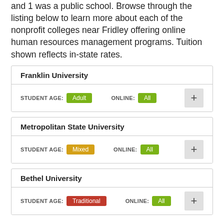and 1 was a public school. Browse through the listing below to learn more about each of the nonprofit colleges near Fridley offering online human resources management programs. Tuition shown reflects in-state rates.
Franklin University — STUDENT AGE: Adult | ONLINE: All
Metropolitan State University — STUDENT AGE: Mixed | ONLINE: All
Bethel University — STUDENT AGE: Traditional | ONLINE: All